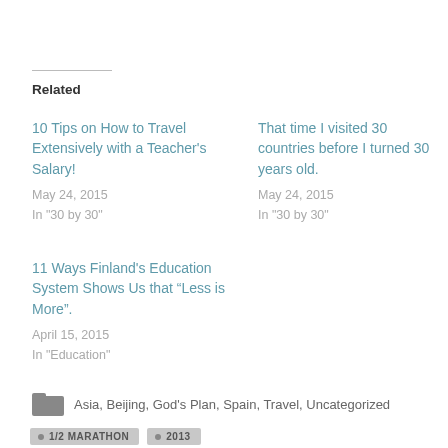Related
10 Tips on How to Travel Extensively with a Teacher's Salary!
May 24, 2015
In "30 by 30"
That time I visited 30 countries before I turned 30 years old.
May 24, 2015
In "30 by 30"
11 Ways Finland's Education System Shows Us that “Less is More”.
April 15, 2015
In "Education"
Asia, Beijing, God's Plan, Spain, Travel, Uncategorized
1/2 MARATHON   2013